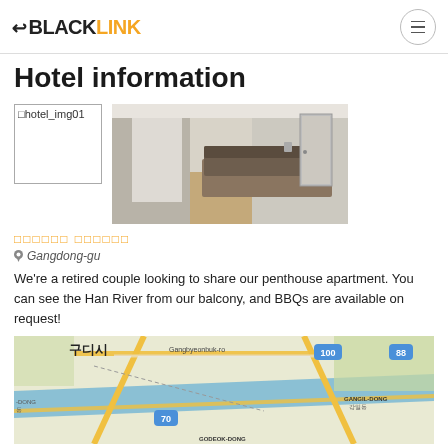←BLACKLINK  ≡
Hotel information
[Figure (photo): Placeholder image labeled hotel_img01 on left; room photo on right showing a bright hotel room with a bed, wooden floor, and hallway]
□□□□□□ □□□□□□
Gangdong-gu
We're a retired couple looking to share our penthouse apartment. You can see the Han River from our balcony, and BBQs are available on request!
[Figure (map): Google Maps view showing Gangdong-gu area with 구디시, Gangbyeonbuk-ro, highway 100, highway 88, -DONG, 70, GANGIL-DONG 강일동, GODEOK-DONG labels visible, showing Han River and road network]